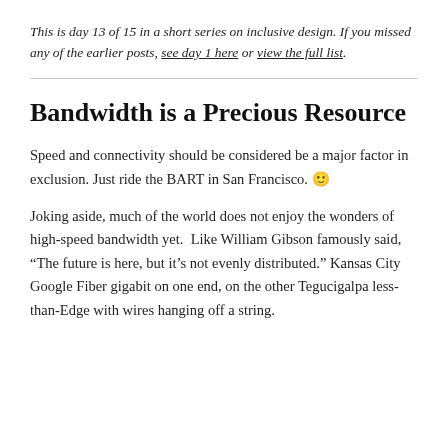This is day 13 of 15 in a short series on inclusive design. If you missed any of the earlier posts, see day 1 here or view the full list.
Bandwidth is a Precious Resource
Speed and connectivity should be considered be a major factor in exclusion. Just ride the BART in San Francisco. 🙂
Joking aside, much of the world does not enjoy the wonders of high-speed bandwidth yet.  Like William Gibson famously said, “The future is here, but it’s not evenly distributed.” Kansas City Google Fiber gigabit on one end, on the other Tegucigalpa less-than-Edge with wires hanging off a string.